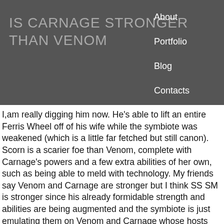IS CARNAGE STRONGER THAN VENOM
About
Portfolio
Blog
Contacts
I,am really digging him now. He's able to lift an entire Ferris Wheel off of his wife while the symbiote was weakened (which is a little far fetched but still canon). Scorn is a scarier foe than Venom, complete with Carnage's powers and a few extra abilities of her own, such as being able to meld with technology. My friends say Venom and Carnage are stronger but I think SS SM is stronger since his already formidable strength and abilities are being augmented and the symbiote is just emulating them on Venom and Carnage whose hosts are just regular humans. Carnage is basically a meaner, stronger version of Venom. Spider-Man's alien costume Venom launched a whole race the